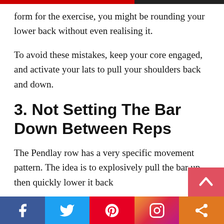form for the exercise, you might be rounding your lower back without even realising it.
To avoid these mistakes, keep your core engaged, and activate your lats to pull your shoulders back and down.
3. Not Setting The Bar Down Between Reps
The Pendlay row has a very specific movement pattern. The idea is to explosively pull the bar up, then quickly lower it back